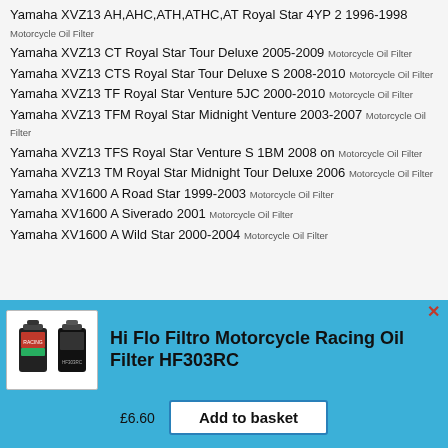Yamaha XVZ13 AH,AHC,ATH,ATHC,AT Royal Star 4YP 2 1996-1998 Motorcycle Oil Filter
Yamaha XVZ13 CT Royal Star Tour Deluxe 2005-2009 Motorcycle Oil Filter
Yamaha XVZ13 CTS Royal Star Tour Deluxe S 2008-2010 Motorcycle Oil Filter
Yamaha XVZ13 TF Royal Star Venture 5JC 2000-2010 Motorcycle Oil Filter
Yamaha XVZ13 TFM Royal Star Midnight Venture 2003-2007 Motorcycle Oil Filter
Yamaha XVZ13 TFS Royal Star Venture S 1BM 2008 on Motorcycle Oil Filter
Yamaha XVZ13 TM Royal Star Midnight Tour Deluxe 2006 Motorcycle Oil Filter
Yamaha XV1600 A Road Star 1999-2003 Motorcycle Oil Filter
Yamaha XV1600 A Siverado 2001 Motorcycle Oil Filter
Yamaha XV1600 A Wild Star 2000-2004 Motorcycle Oil Filter
Hi Flo Filtro Motorcycle Racing Oil Filter HF303RC
£6.60
Add to basket